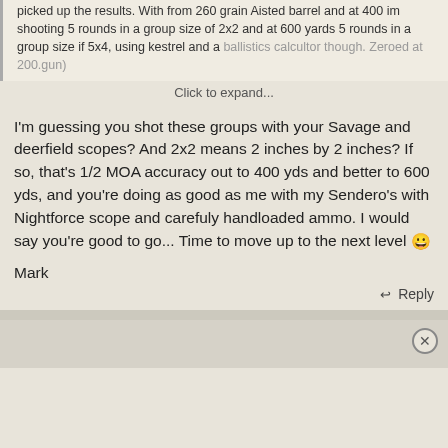picked up the results. With from 260 grain Aisted barrel and at 400 im shooting 5 rounds in a group size of 2x2 and at 600 yards 5 rounds in a group size if 5x4, using kestrel and a ballistics calcultor though. Zeroed at 200.gun)
Click to expand...
I'm guessing you shot these groups with your Savage and deerfield scopes? And 2x2 means 2 inches by 2 inches? If so, that's 1/2 MOA accuracy out to 400 yds and better to 600 yds, and you're doing as good as me with my Sendero's with Nightforce scope and carefuly handloaded ammo. I would say you're good to go... Time to move up to the next level 😀
Mark
Reply